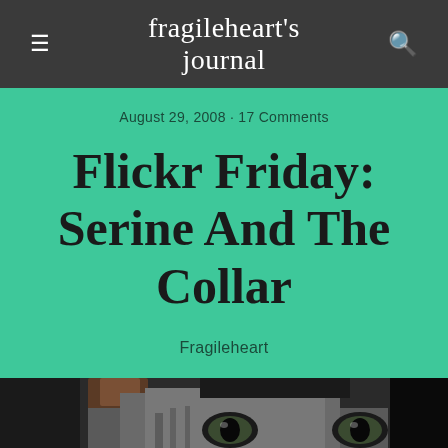fragileheart's journal
August 29, 2008 · 17 Comments
Flickr Friday: Serine And The Collar
Fragileheart
[Figure (photo): Close-up photo of a cat's face showing eyes, fur in dark tones against black background]